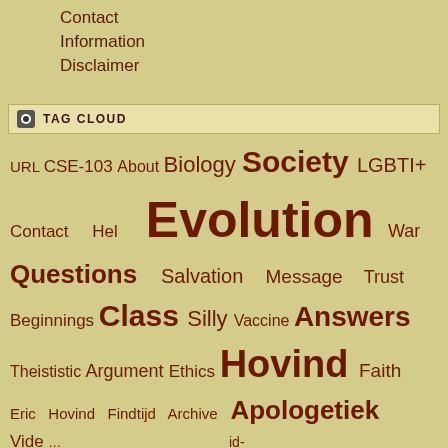Contact
Information
Disclaimer
TAG CLOUD
[Figure (infographic): Tag cloud with words: URL, CSE-103, About, Biology, Society, LGBTI+, Contact, Hel, Evolution, War, Questions, Salvation, Message, Trust, Beginnings, Class, Silly, Vaccine, Answers, Theististic, Argument, Ethics, Hovind, Faith, Eric, Hovind, Findtijd, Archive, Apologetiek, Vide, id-, n, ay, me, 02, 3ymbo, CSE-104, Testimony, Quots]
Thank you for visiting. You can now buy me a coffee!